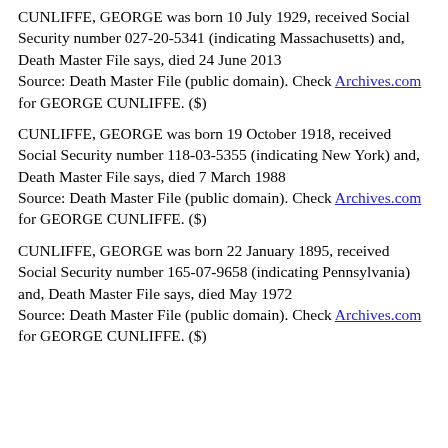CUNLIFFE, GEORGE was born 10 July 1929, received Social Security number 027-20-5341 (indicating Massachusetts) and, Death Master File says, died 24 June 2013
Source: Death Master File (public domain). Check Archives.com for GEORGE CUNLIFFE. ($)
CUNLIFFE, GEORGE was born 19 October 1918, received Social Security number 118-03-5355 (indicating New York) and, Death Master File says, died 7 March 1988
Source: Death Master File (public domain). Check Archives.com for GEORGE CUNLIFFE. ($)
CUNLIFFE, GEORGE was born 22 January 1895, received Social Security number 165-07-9658 (indicating Pennsylvania) and, Death Master File says, died May 1972
Source: Death Master File (public domain). Check Archives.com for GEORGE CUNLIFFE. ($)